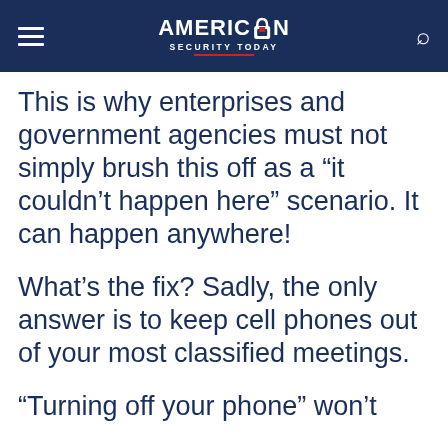AMERICAN SECURITY TODAY
This is why enterprises and government agencies must not simply brush this off as a “it couldn’t happen here” scenario. It can happen anywhere!
What’s the fix? Sadly, the only answer is to keep cell phones out of your most classified meetings.
“Turning off your phone” won’t